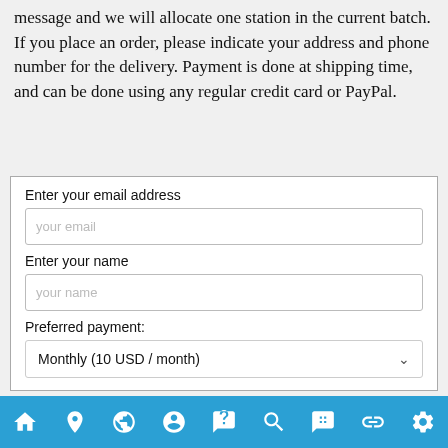If you are interested in getting a GNRT station, send us a message and we will allocate one station in the current batch. If you place an order, please indicate your address and phone number for the delivery. Payment is done at shipping time, and can be done using any regular credit card or PayPal.
[Figure (screenshot): Web form with fields: Enter your email address (placeholder: your email), Enter your name (placeholder: your name), Preferred payment dropdown (Monthly 10 USD / month)]
[Figure (infographic): Bottom navigation bar with 9 icons on blue background: home, location pin, globe, person with mask, FAQ speech bubble, search/magnify, customer service agent, link/chain, settings gear]